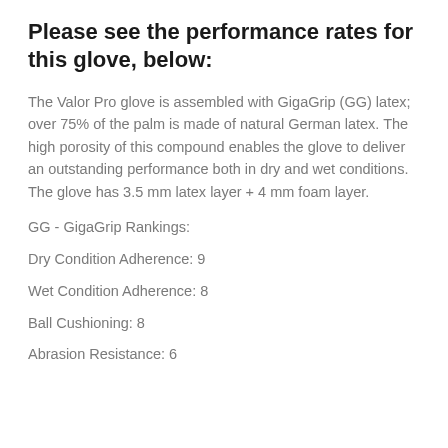Please see the performance rates for this glove, below:
The Valor Pro glove is assembled with GigaGrip (GG) latex; over 75% of the palm is made of natural German latex. The high porosity of this compound enables the glove to deliver an outstanding performance both in dry and wet conditions. The glove has 3.5 mm latex layer + 4 mm foam layer.
GG - GigaGrip Rankings:
Dry Condition Adherence: 9
Wet Condition Adherence: 8
Ball Cushioning: 8
Abrasion Resistance: 6